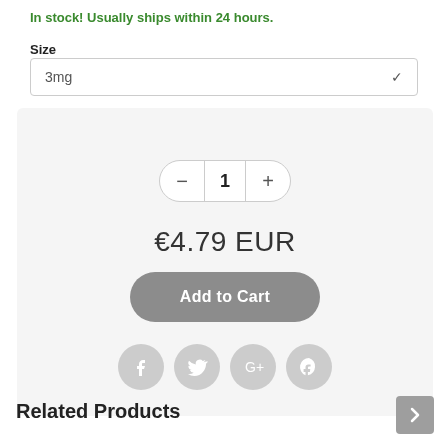In stock! Usually ships within 24 hours.
Size
3mg
1
€4.79 EUR
Add to Cart
[Figure (other): Social sharing icons: Facebook, Twitter, Google+, Pinterest]
Related Products